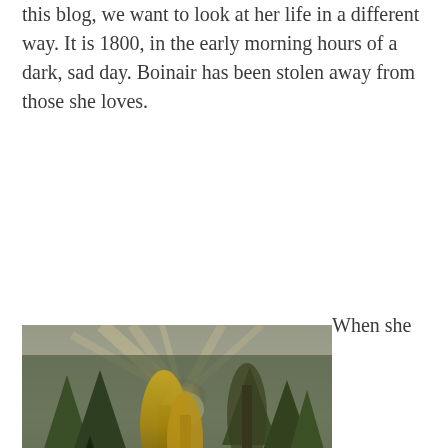this blog, we want to look at her life in a different way. It is 1800, in the early morning hours of a dark, sad day. Boinair has been stolen away from those she loves.
[Figure (photo): Photograph of a forest scene with trees including a dark green conifer and yellow autumn poplar trees, with rays of light breaking through misty trees in the background.]
When she awakens, she finds her wrists and ankles are bound, and she is tied to a tree. Young women and children sob and cry around her, they are hungry and hurting both inside and out. Through yesterday's chaos, Boinair remembers catching